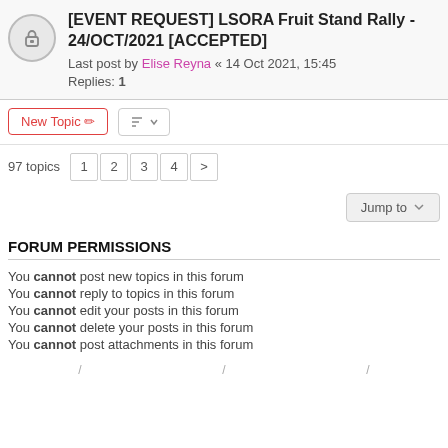[EVENT REQUEST] LSORA Fruit Stand Rally - 24/OCT/2021 [ACCEPTED]
Last post by Elise Reyna « 14 Oct 2021, 15:45
Replies: 1
New Topic | 97 topics 1 2 3 4 >
Jump to
FORUM PERMISSIONS
You cannot post new topics in this forum
You cannot reply to topics in this forum
You cannot edit your posts in this forum
You cannot delete your posts in this forum
You cannot post attachments in this forum
/ / /